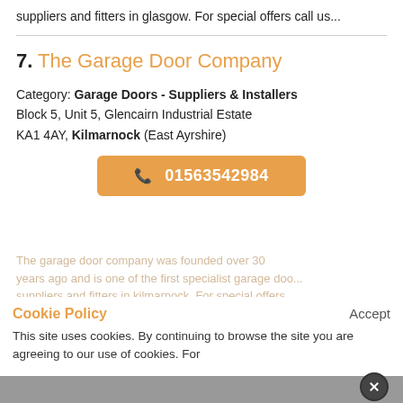suppliers and fitters in glasgow. For special offers call us...
7. The Garage Door Company
Category: Garage Doors - Suppliers & Installers
Block 5, Unit 5, Glencairn Industrial Estate KA1 4AY, Kilmarnock (East Ayrshire)
01563542984
The garage door company was founded over 30 years ago and is one of the first specialist garage door suppliers and fitters in kilmarnock. For special offers own...
Cookie Policy
Accept
This site uses cookies. By continuing to browse the site you are agreeing to our use of cookies. For more details, review our Cookie Policy.